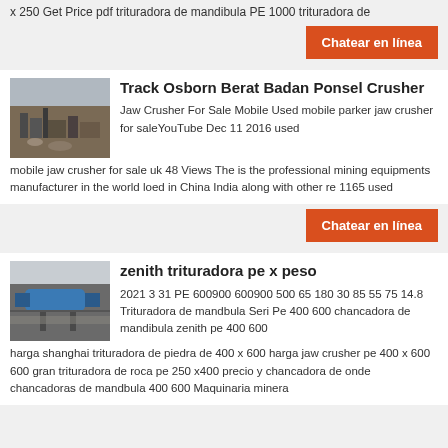x 250 Get Price pdf trituradora de mandibula PE 1000 trituradora de
[Figure (other): Orange button: Chatear en línea]
Track Osborn Berat Badan Ponsel Crusher
[Figure (photo): Photo of a large outdoor mining/crushing machinery installation at a quarry site]
Jaw Crusher For Sale Mobile Used mobile parker jaw crusher for saleYouTube Dec 11 2016 used mobile jaw crusher for sale uk 48 Views The is the professional mining equipments manufacturer in the world loed in China India along with other re 1165 used
[Figure (other): Orange button: Chatear en línea]
zenith trituradora pe x peso
[Figure (photo): Photo of industrial cement/grinding mill equipment outdoors]
2021 3 31 PE 600900 600900 500 65 180 30 85 55 75 14.8 Trituradora de mandbula Seri Pe 400 600 chancadora de mandibula zenith pe 400 600 harga shanghai trituradora de piedra de 400 x 600 harga jaw crusher pe 400 x 600 600 gran trituradora de roca pe 250 x400 precio y chancadora de onde chancadoras de mandbula 400 600 Maquinaria minera